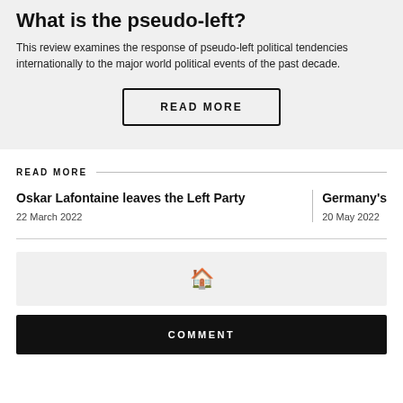What is the pseudo-left?
This review examines the response of pseudo-left political tendencies internationally to the major world political events of the past decade.
READ MORE
READ MORE
Oskar Lafontaine leaves the Left Party
22 March 2022
Germany's
20 May 2022
[Figure (illustration): Home icon (house symbol)]
COMMENT